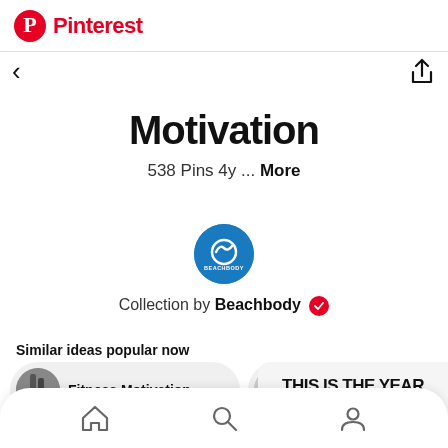Pinterest
Motivation
538 Pins 4y ... More
[Figure (logo): Beachbody circular logo with blue background and white stylized figure]
Collection by Beachbody
Similar ideas popular now
Fitness Motivation
Inspiration...
[Figure (illustration): Text graphic: THIS IS THE YEAR to be BRAVER]
Home, Search, Profile navigation icons